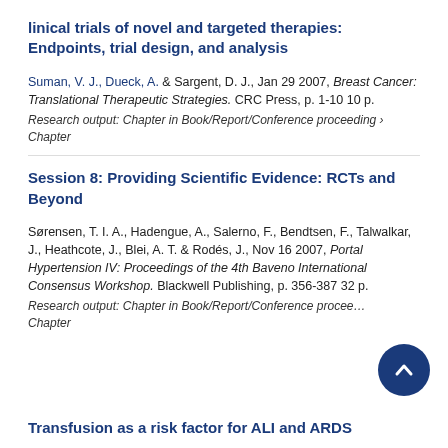linical trials of novel and targeted therapies: Endpoints, trial design, and analysis
Suman, V. J., Dueck, A. & Sargent, D. J., Jan 29 2007, Breast Cancer: Translational Therapeutic Strategies. CRC Press, p. 1-10 10 p.
Research output: Chapter in Book/Report/Conference proceeding › Chapter
Session 8: Providing Scientific Evidence: RCTs and Beyond
Sørensen, T. I. A., Hadengue, A., Salerno, F., Bendtsen, F., Talwalkar, J., Heathcote, J., Blei, A. T. & Rodés, J., Nov 16 2007, Portal Hypertension IV: Proceedings of the 4th Baveno International Consensus Workshop. Blackwell Publishing, p. 356-387 32 p.
Research output: Chapter in Book/Report/Conference proceeding › Chapter
Transfusion as a risk factor for ALI and ARDS